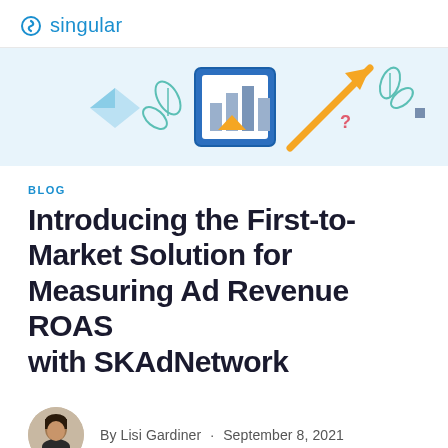singular
[Figure (illustration): Decorative hero banner with bar chart icon in blue frame, orange upward arrow, teal leaf decorations, and geometric shapes on light blue background]
BLOG
Introducing the First-to-Market Solution for Measuring Ad Revenue ROAS with SKAdNetwork
By Lisi Gardiner · September 8, 2021